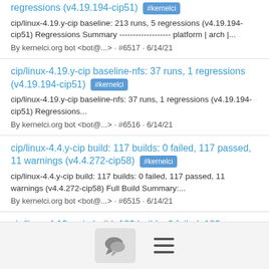regressions (v4.19.194-cip51) #kernelci
cip/linux-4.19.y-cip baseline: 213 runs, 5 regressions (v4.19.194-cip51) Regressions Summary ------------------- platform | arch |...
By kernelci.org bot <bot@...> · #6517 · 6/14/21
cip/linux-4.19.y-cip baseline-nfs: 37 runs, 1 regressions (v4.19.194-cip51) #kernelci
cip/linux-4.19.y-cip baseline-nfs: 37 runs, 1 regressions (v4.19.194-cip51) Regressions...
By kernelci.org bot <bot@...> · #6516 · 6/14/21
cip/linux-4.4.y-cip build: 117 builds: 0 failed, 117 passed, 11 warnings (v4.4.272-cip58) #kernelci
cip/linux-4.4.y-cip build: 117 builds: 0 failed, 117 passed, 11 warnings (v4.4.272-cip58) Full Build Summary:...
By kernelci.org bot <bot@...> · #6515 · 6/14/21
cip/linux-4.19.y-cip build: 123 builds: 0 failed, 123